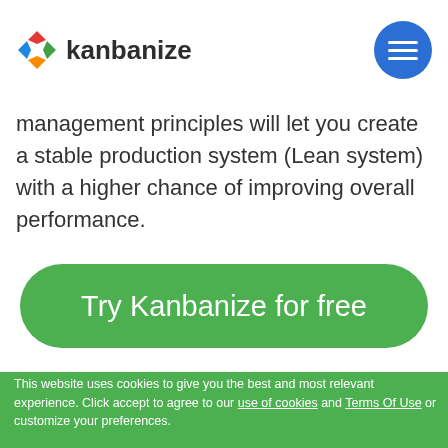kanbanize
management principles will let you create a stable production system (Lean system) with a higher chance of improving overall performance.
Try Kanbanize for free
This website uses cookies to give you the best and most relevant experience. Click accept to agree to our use of cookies and Terms Of Use or customize your preferences.
My settings
Accept